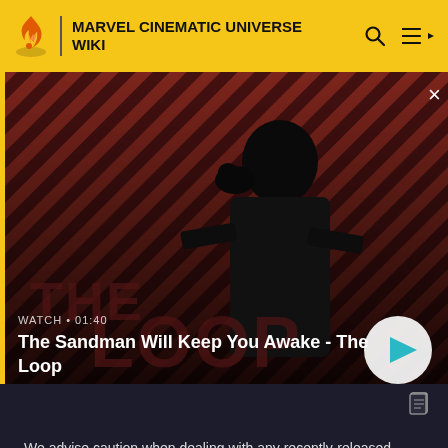MARVEL CINEMATIC UNIVERSE WIKI
[Figure (screenshot): Hero video thumbnail showing a dark-clothed figure with a black bird on shoulder against a red and black diagonal striped background. Text overlay reads 'THE LOOP'. Watch duration shown as 01:40. Play button visible in bottom right.]
The Sandman Will Keep You Awake - The Loop
of the shadows.'
We advise caution when dealing with any recently-released media involving multiversal subjects. Please do not make assumptions regarding confusing wording, other sites' speculation, and people's headcanon around the internet.